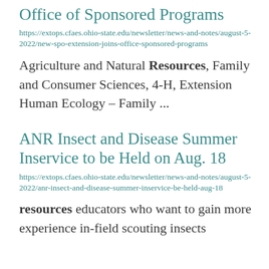Office of Sponsored Programs
https://extops.cfaes.ohio-state.edu/newsletter/news-and-notes/august-5-2022/new-spo-extension-joins-office-sponsored-programs
Agriculture and Natural Resources, Family and Consumer Sciences, 4-H, Extension Human Ecology – Family ...
ANR Insect and Disease Summer Inservice to be Held on Aug. 18
https://extops.cfaes.ohio-state.edu/newsletter/news-and-notes/august-5-2022/anr-insect-and-disease-summer-inservice-be-held-aug-18
resources educators who want to gain more experience in-field scouting insects